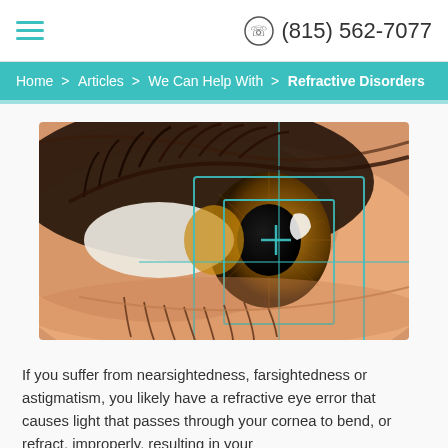(815) 562-7077
Home > Articles > We Can Help With > Refractive Disorders
[Figure (photo): Close-up macro photograph of a human eye with a teal-colored targeting/crosshair overlay on the iris and pupil area, suggesting ophthalmological scanning or measurement.]
If you suffer from nearsightedness, farsightedness or astigmatism, you likely have a refractive eye error that causes light that passes through your cornea to bend, or refract, improperly, resulting in your